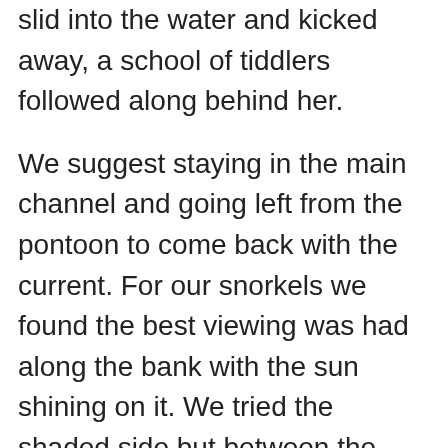slid into the water and kicked away, a school of tiddlers followed along behind her.
We suggest staying in the main channel and going left from the pontoon to come back with the current. For our snorkels we found the best viewing was had along the bank with the sun shining on it. We tried the shaded side but between the shadow and poor visibility we couldn’t see a thing!
The middle of the channel is quite bare. We looked for rays but couldn’t see any. With the lack of features and the silt catching the light, it was quite disorienting swimming up the